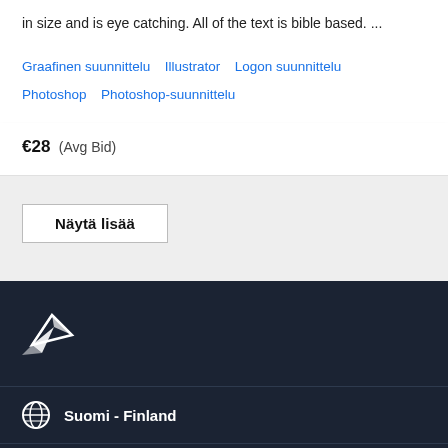in size and is eye catching. All of the text is bible based. ...
Graafinen suunnittelu   Illustrator   Logon suunnittelu   Photoshop   Photoshop-suunnittelu
€28  (Avg Bid)
Näytä lisää
[Figure (logo): PeoplePerHour white hummingbird/bird logo on dark navy background]
Suomi - Finland
[Figure (other): Partially visible icon at bottom of dark footer]